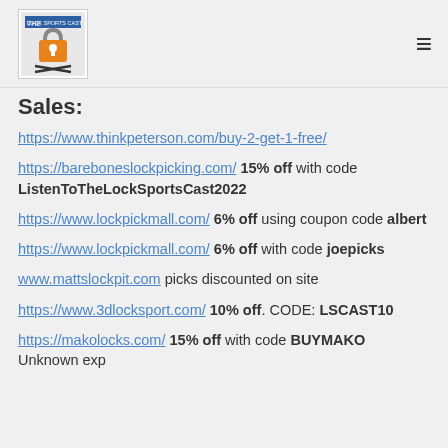The Lock Sports Cast logo and hamburger menu
Sales:
https://www.thinkpeterson.com/buy-2-get-1-free/
https://bareboneslockpicking.com/ 15% off with code ListenToTheLockSportsCast2022
https://www.lockpickmall.com/ 6% off using coupon code albert
https://www.lockpickmall.com/ 6% off with code joepicks
www.mattslockpit.com picks discounted on site
https://www.3dlocksport.com/ 10% off. CODE: LSCAST10
https://makolocks.com/ 15% off with code BUYMAKO Unknown exp